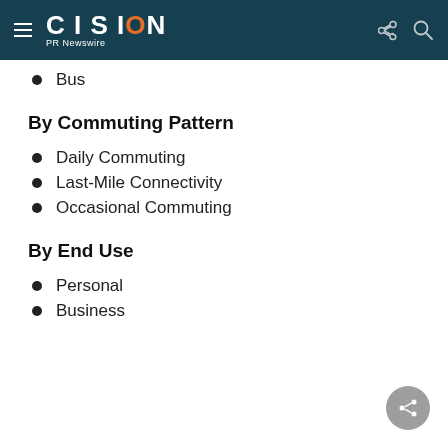CISION PR Newswire
Bus
By Commuting Pattern
Daily Commuting
Last-Mile Connectivity
Occasional Commuting
By End Use
Personal
Business